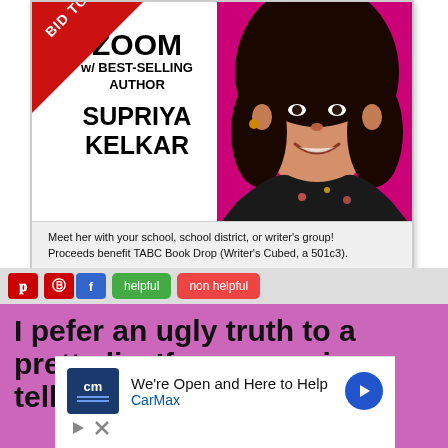[Figure (infographic): Promotional card for a Zoom event with best-selling author Supriya Kelkar. Red diagonal 'BID TO' banner in top-left corner. White background on left with text: ZOOM w/ BEST-SELLING AUTHOR SUPRIYA KELKAR. Photo of smiling woman with curly dark hair against magenta background on right.]
Meet her with your school, school district, or writer's group! Proceeds benefit TABC Book Drop (Writer's Cubed, a 501c3).
[Figure (screenshot): Screenshot of a social sharing bar with Pinterest and Facebook buttons, and 'helpful' and 'non helpful' buttons. Below is a pink/magenta background with bold black text quote starting: I pefer an ugly truth to a pretty lie. If someone is telling me the truth that is]
I pefer an ugly truth to a pretty lie. If someone is telling me the truth that is
[Figure (infographic): CarMax advertisement: CM logo in dark blue square, text 'We're Open and Here to Help' with 'CarMax' below in blue, blue arrow circle button on right. Two small icons below.]